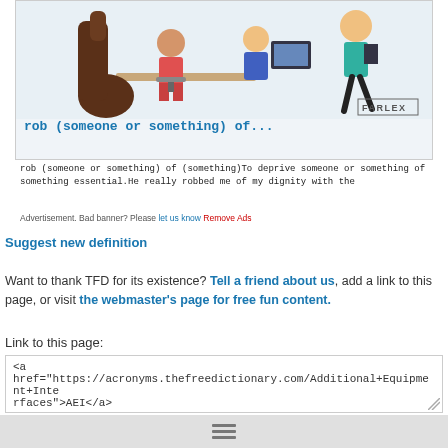[Figure (illustration): Advertisement banner with illustrated figures and Farlex logo, showing office/people clipart]
rob (someone or something) of...
rob (someone or something) of (something)To deprive someone or something of something essential.He really robbed me of my dignity with the
Advertisement. Bad banner? Please let us know Remove Ads
Suggest new definition
Want to thank TFD for its existence? Tell a friend about us, add a link to this page, or visit the webmaster's page for free fun content.
Link to this page:
<a href="https://acronyms.thefreedictionary.com/Additional+Equipment+Interfaces">AEI</a>